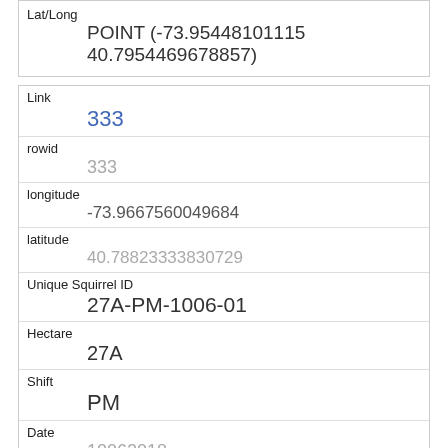| Field | Value |
| --- | --- |
| Lat/Long | POINT (-73.95448101115 40.7954469678857) |
| Link | 333 |
| rowid | 333 |
| longitude | -73.9667560049684 |
| latitude | 40.78823333830729 |
| Unique Squirrel ID | 27A-PM-1006-01 |
| Hectare | 27A |
| Shift | PM |
| Date | 10062018 |
| Hectare Squirrel Number | 1 |